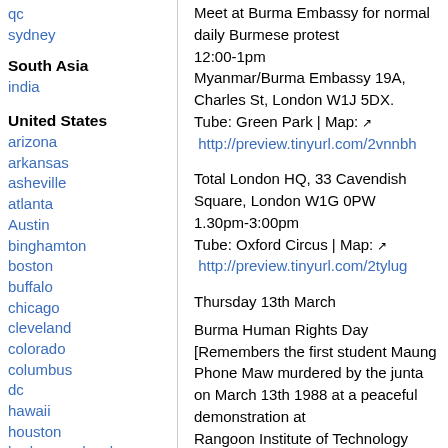qc
sydney
South Asia
india
United States
arizona
arkansas
asheville
atlanta
Austin
binghamton
boston
buffalo
chicago
cleveland
colorado
columbus
dc
hawaii
houston
hudson mohawk
kansas city
la
madison
Meet at Burma Embassy for normal daily Burmese protest
12:00-1pm
Myanmar/Burma Embassy 19A, Charles St, London W1J 5DX.
Tube: Green Park | Map: [external link]
http://preview.tinyurl.com/2vnnbh
Total London HQ, 33 Cavendish Square, London W1G 0PW
1.30pm-3:00pm
Tube: Oxford Circus | Map: [external link]
http://preview.tinyurl.com/2tylug
Thursday 13th March
Burma Human Rights Day
[Remembers the first student Maung Phone Maw murdered by the junta on March 13th 1988 at a peaceful demonstration at
Rangoon Institute of Technology (RIT) at the start of the 1988 democracy protests in which